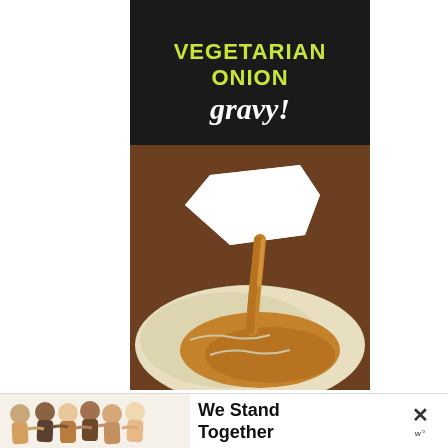[Figure (photo): Recipe card/blog image showing a white gravy boat pouring golden-brown vegetarian onion gravy over mashed potatoes. The top portion has a black background with bold yellow text 'VEGETARIAN ONION' and white script text 'gravy!' Below is a close-up food photograph of the gravy being poured.]
[Figure (photo): Advertisement banner at the bottom showing a group of diverse people with arms around each other viewed from behind, with text 'We Stand Together' and a close button (X) on the right.]